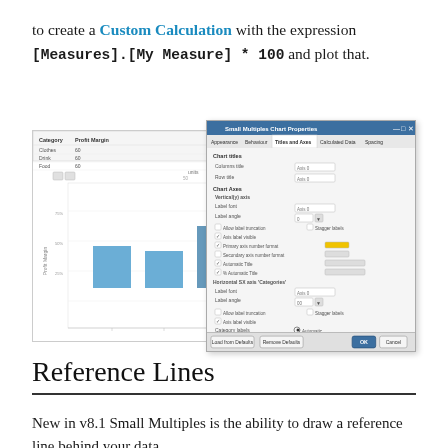to create a Custom Calculation with the expression [Measures].[My Measure] * 100 and plot that.
[Figure (screenshot): A screenshot showing a Small Multiples bar chart with categories (Clothes, Drink, Food) and Profit Margin axis, alongside a 'Small Multiples Chart Properties' dialog box open to the 'Title and Axes' tab with various axis formatting options.]
Reference Lines
New in v8.1 Small Multiples is the ability to draw a reference line behind your data.